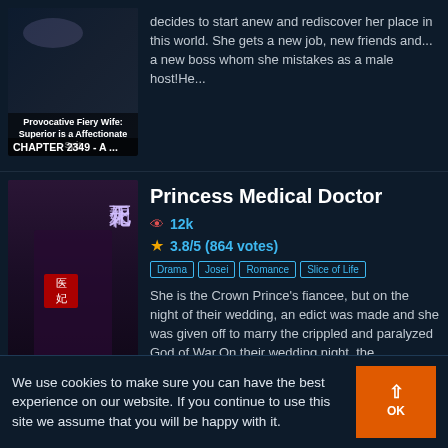[Figure (illustration): Book cover for 'Provocative Fiery Wife: Superior is a Affectionate Spit', showing dark background with text overlay. Chapter 2349 label at bottom.]
decides to start anew and rediscover her place in this world. She gets a new job, new friends and... a new boss whom she mistakes as a male host!He...
[Figure (illustration): Book cover for 'Princess Medical Doctor' showing a woman with long black hair and purple flowers, Chinese characters on cover. Chapter 733.2 label.]
Princess Medical Doctor
12k views
3.8/5 (864 votes)
Drama
Josei
Romance
Slice of Life
She is the Crown Prince's fiancee, but on the night of their wedding, an edict was made and she was given off to marry the crippled and paralyzed God of War.On their wedding night, the paralyzed...
[Figure (illustration): Book cover for 'Picking Up Attributes From Today' with blue gradient background and text overlay.]
Picking Up Attributes From Today
11.5k views
2.6/5 (14 votes)
We use cookies to make sure you can have the best experience on our website. If you continue to use this site we assume that you will be happy with it.